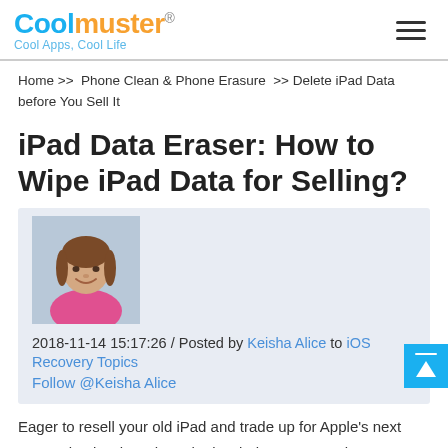Coolmuster® Cool Apps, Cool Life
Home >> Phone Clean & Phone Erasure >> Delete iPad Data before You Sell It
iPad Data Eraser: How to Wipe iPad Data for Selling?
[Figure (photo): Author photo of Keisha Alice, a woman with brown hair wearing a pink top, smiling]
2018-11-14 15:17:26 / Posted by Keisha Alice to iOS Recovery Topics
Follow @Keisha Alice
Eager to resell your old iPad and trade up for Apple's next generation iPad, such as the iPad Air? Once you kept your old iPad in relatively good shape, you can